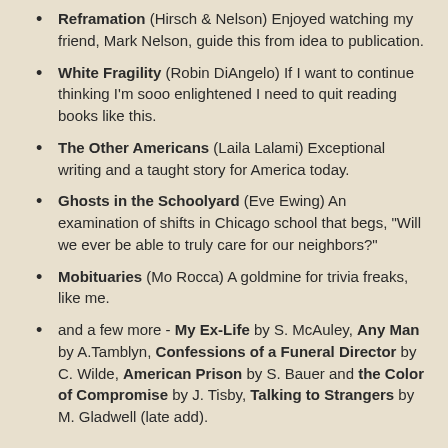Reframation (Hirsch & Nelson) Enjoyed watching my friend, Mark Nelson, guide this from idea to publication.
White Fragility (Robin DiAngelo) If I want to continue thinking I'm sooo enlightened I need to quit reading books like this.
The Other Americans (Laila Lalami) Exceptional writing and a taught story for America today.
Ghosts in the Schoolyard (Eve Ewing) An examination of shifts in Chicago school that begs, "Will we ever be able to truly care for our neighbors?"
Mobituaries (Mo Rocca) A goldmine for trivia freaks, like me.
and a few more - My Ex-Life by S. McAuley, Any Man by A.Tamblyn, Confessions of a Funeral Director by C. Wilde, American Prison by S. Bauer and the Color of Compromise by J. Tisby, Talking to Strangers by M. Gladwell (late add).